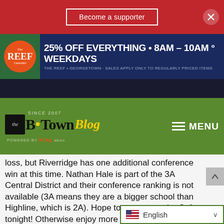Become a supporter
[Figure (illustration): The Reef Cannabis advertisement banner: 25% OFF EVERYTHING • 8AM - 10AM ° WEEKDAYS. THE REEF • GEORGETOWN · SALES APPLY ONLY TO REGULARLY PRICED ITEMS]
the B•Town Blog — Since 2007 — Powered by King Media — MENU
loss, but Riverridge has one additional conference win at this time. Nathan Hale is part of the 3A Central District and their conference ranking is not available (3A means they are a bigger school than Highline, which is 2A). Hope to see you at the Safe tonight! Otherwise enjoy more Pirate baseball online here. Click images to view larger versions/slideshow:
See your Highline Pirates play baseball at Safeco Field TONIGHT for
English